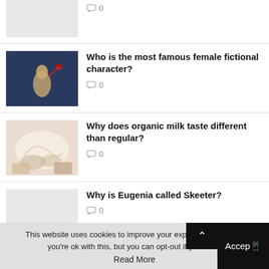[Figure (photo): Partial thumbnail image at top, cut off]
💬 0
[Figure (photo): Photo of a person holding a red rose on a dark blue background]
Who is the most famous female fictional character?
💬 0
[Figure (photo): Photo of what appears to be ice cream or dessert being made]
Why does organic milk taste different than regular?
💬 0
[Figure (photo): Placeholder thumbnail (light grey)]
Why is Eugenia called Skeeter?
💬 0
This website uses cookies to improve your experience. We'll as you're ok with this, but you can opt-out if you wish. Read More